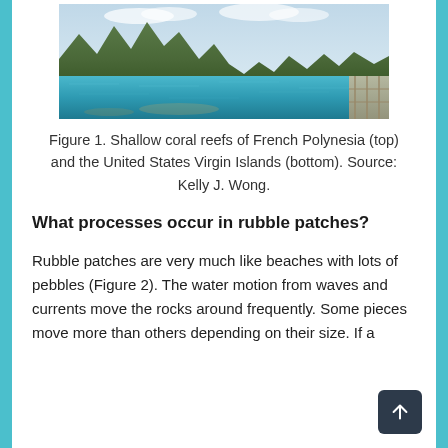[Figure (photo): Panoramic photo of a shallow coral reef bay with turquoise water, green mountains in the background, and a wooden dock/pier visible on the right side. The United States Virgin Islands coral reef landscape.]
Figure 1. Shallow coral reefs of French Polynesia (top) and the United States Virgin Islands (bottom). Source: Kelly J. Wong.
What processes occur in rubble patches?
Rubble patches are very much like beaches with lots of pebbles (Figure 2). The water motion from waves and currents move the rocks around frequently. Some pieces move more than others depending on their size. If a